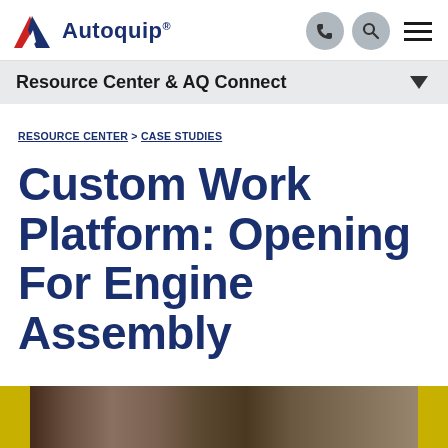Autoquip® — Resource Center & AQ Connect
RESOURCE CENTER > CASE STUDIES
Custom Work Platform: Opening For Engine Assembly
[Figure (photo): Workshop floor photo showing yellow structural pillars/posts with industrial equipment and machinery visible in the background on a concrete floor.]